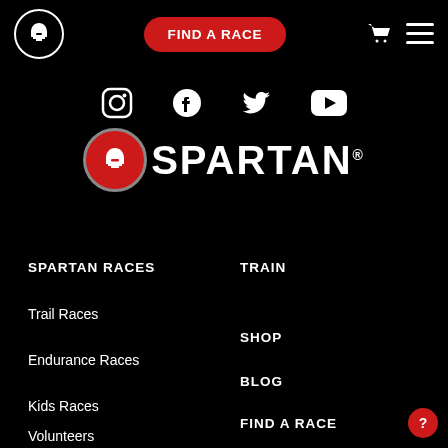FIND A RACE
[Figure (logo): Spartan race logo with social media icons (Instagram, Facebook, Twitter, YouTube) and Spartan brand logo]
SPARTAN RACES
Trail Races
Endurance Races
Kids Races
Volunteers
TRAIN
SHOP
BLOG
FIND A RACE